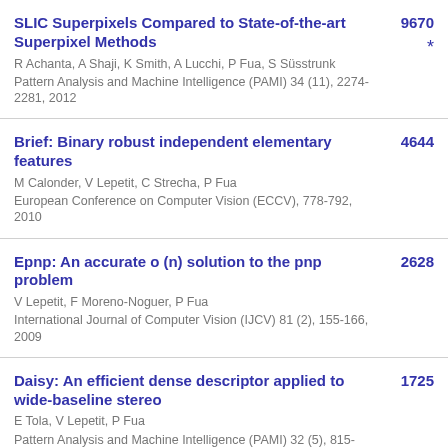SLIC Superpixels Compared to State-of-the-art Superpixel Methods | R Achanta, A Shaji, K Smith, A Lucchi, P Fua, S Süsstrunk | Pattern Analysis and Machine Intelligence (PAMI) 34 (11), 2274-2281, 2012 | 9670 *
Brief: Binary robust independent elementary features | M Calonder, V Lepetit, C Strecha, P Fua | European Conference on Computer Vision (ECCV), 778-792, 2010 | 4644
Epnp: An accurate o (n) solution to the pnp problem | V Lepetit, F Moreno-Noguer, P Fua | International Journal of Computer Vision (IJCV) 81 (2), 155-166, 2009 | 2628
Daisy: An efficient dense descriptor applied to wide-baseline stereo | E Tola, V Lepetit, P Fua | Pattern Analysis and Machine Intelligence (PAMI) 32 (5), 815-830, 2010 | 1725